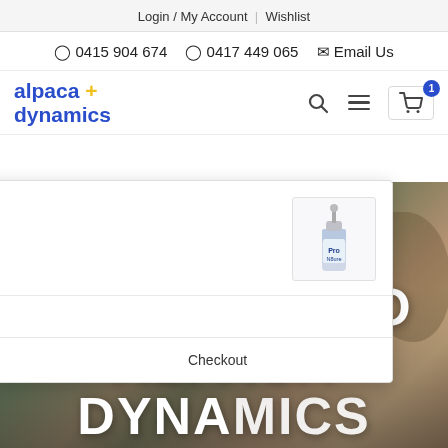Login / My Account | Wishlist
0415 904 674   0417 449 065   Email Us
[Figure (logo): Alpaca Dynamics logo — blue text with yellow plus sign]
ProN8ure Liquid with Pump 125ml
1 × $50.50
Subtotal: $50.50
View cart   Checkout
WELCOME TO ALPACA DYNAMICS